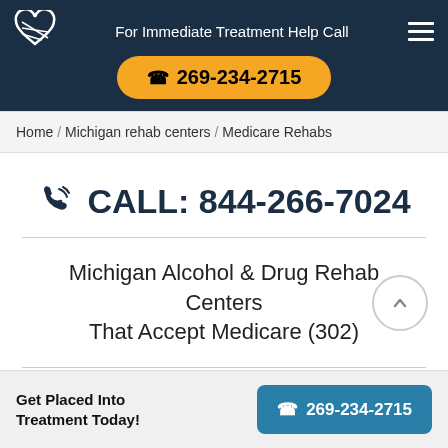For Immediate Treatment Help Call 269-234-2715
Home / Michigan rehab centers / Medicare Rehabs
CALL: 844-266-7024
Michigan Alcohol & Drug Rehab Centers That Accept Medicare (302)
Get Placed Into Treatment Today! 269-234-2715